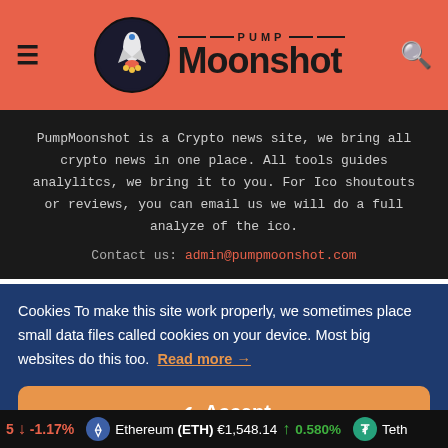PumpMoonshot — PUMP Moonshot logo header with hamburger menu and search icon
PumpMoonshot is a Crypto news site, we bring all crypto news in one place. All tools guides analytilcs, we bring it to you. For Ico shoutouts or reviews, you can email us we will do a full analyze of the ico.
Contact us: admin@pumpmoonshot.com
Cookies To make this site work properly, we sometimes place small data files called cookies on your device. Most big websites do this too. Read more →
✔ Accept
Cookies Settings ⚙
-1.17% Ethereum (ETH) €1,548.14 ↑ 0.580% Teth